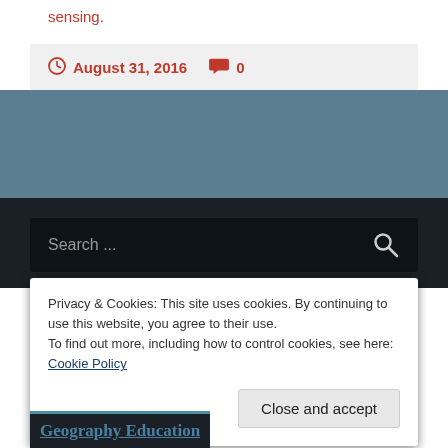sensing.
August 31, 2016  0
Search ...
Privacy & Cookies: This site uses cookies. By continuing to use this website, you agree to their use.
To find out more, including how to control cookies, see here: Cookie Policy
Close and accept
Geography Education